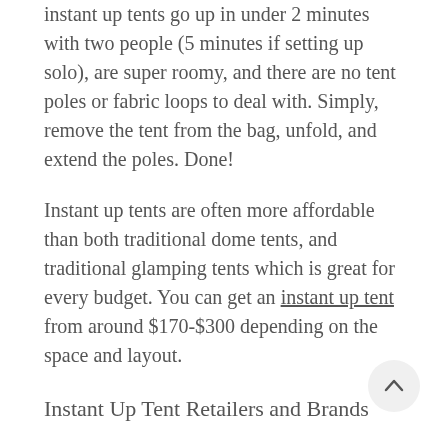instant up tents go up in under 2 minutes with two people (5 minutes if setting up solo), are super roomy, and there are no tent poles or fabric loops to deal with. Simply, remove the tent from the bag, unfold, and extend the poles. Done!
Instant up tents are often more affordable than both traditional dome tents, and traditional glamping tents which is great for every budget. You can get an instant up tent from around $170-$300 depending on the space and layout.
Instant Up Tent Retailers and Brands
Coleman and OT OOMOYOR instant up tents